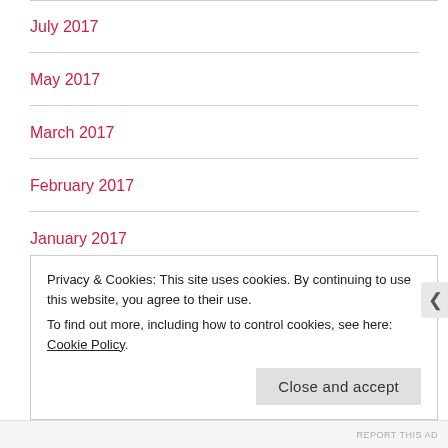July 2017
May 2017
March 2017
February 2017
January 2017
December 2016
November 2016
Privacy & Cookies: This site uses cookies. By continuing to use this website, you agree to their use. To find out more, including how to control cookies, see here: Cookie Policy
REPORT THIS AD